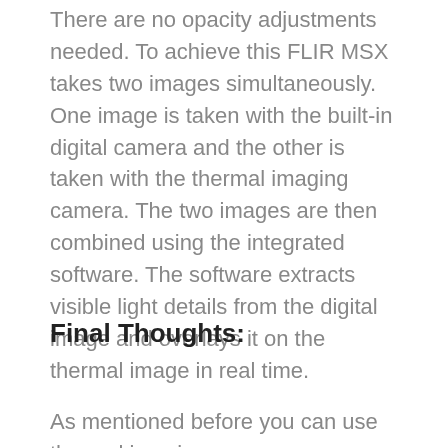There are no opacity adjustments needed. To achieve this FLIR MSX takes two images simultaneously. One image is taken with the built-in digital camera and the other is taken with the thermal imaging camera. The two images are then combined using the integrated software. The software extracts visible light details from the digital image and overlays it on the thermal image in real time.
Final Thoughts:
As mentioned before you can use thermal imaging